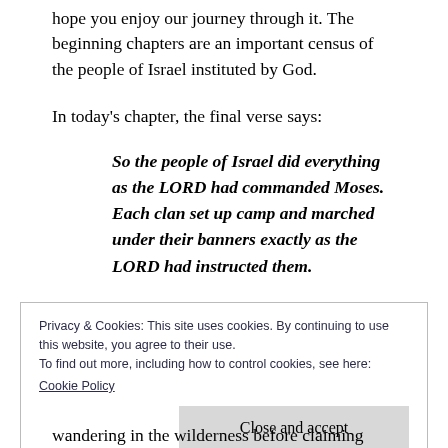hope you enjoy our journey through it. The beginning chapters are an important census of the people of Israel instituted by God.
In today's chapter, the final verse says:
So the people of Israel did everything as the LORD had commanded Moses. Each clan set up camp and marched under their banners exactly as the LORD had instructed them.
Privacy & Cookies: This site uses cookies. By continuing to use this website, you agree to their use.
To find out more, including how to control cookies, see here:
Cookie Policy
Close and accept
wandering in the wilderness before claiming